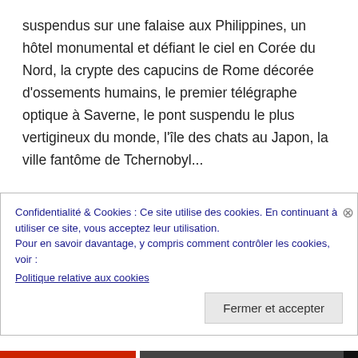suspendus sur une falaise aux Philippines, un hôtel monumental et défiant le ciel en Corée du Nord, la crypte des capucins de Rome décorée d'ossements humains, le premier télégraphe optique à Saverne, le pont suspendu le plus vertigineux du monde, l'île des chats au Japon, la ville fantôme de Tchernobyl...

Atlas Obscura révèle les lieux les plus étranges et curieux du monde. Laissez votre curiosité devenir votre boussole. Soyez curieux sans modération, tournez les pages, découvrez, relisez, re-découvrez. La
Confidentialité & Cookies : Ce site utilise des cookies. En continuant à utiliser ce site, vous acceptez leur utilisation.
Pour en savoir davantage, y compris comment contrôler les cookies, voir :
Politique relative aux cookies

Fermer et accepter